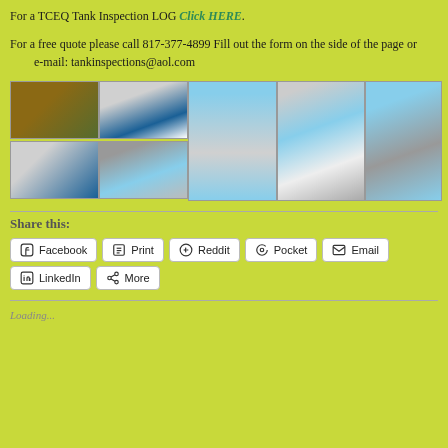For a TCEQ Tank Inspection LOG Click HERE.
For a free quote please call 817-377-4899 Fill out the form on the side of the page or          e-mail: tankinspections@aol.com
[Figure (photo): Grid of 6 tank inspection photos: workers in tanks, water tower, top-of-tank close-up, worker on ladder]
Share this:
Facebook
Print
Reddit
Pocket
Email
LinkedIn
More
Loading...